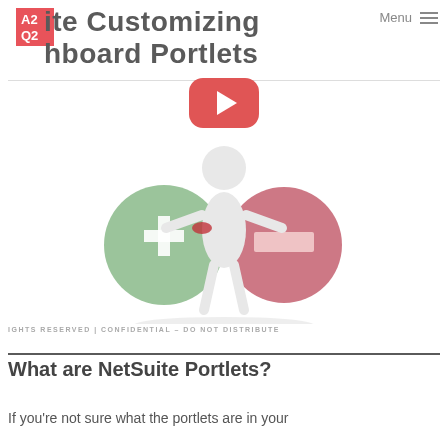A2Q2
Suite Customizing Dashboard Portlets
[Figure (illustration): YouTube play button overlay on an illustration of a 3D white figure holding a green plus sign circle on the left and a red minus sign circle on the right]
RIGHTS RESERVED | CONFIDENTIAL – DO NOT DISTRIBUTE
What are NetSuite Portlets?
If you're not sure what the portlets are in your